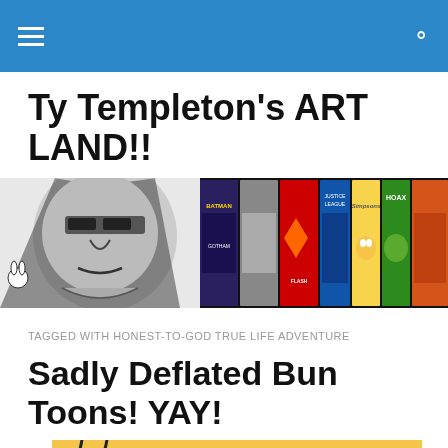Navigation bar with hamburger menu and search icon
Ty Templeton's ART LAND!!
[Figure (photo): Website banner showing a black and white photo of Ty Templeton alongside colorful comic book covers including Superman, Justice League, The Simpsons, Hoax, and others]
TAGGED WITH HONEST-TO-GOD TRUE LIFE ADVENTURE
Sadly Deflated Bun Toons! YAY!
[Figure (illustration): Partial view of a Bun Toons comic strip with yellow/orange background and red stylized lettering]